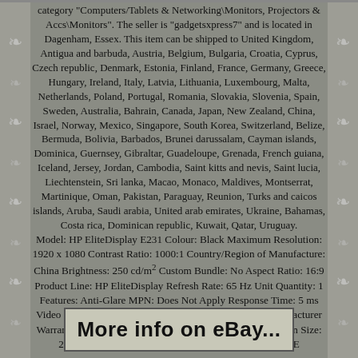category "Computers/Tablets & Networking\Monitors, Projectors & Accs\Monitors". The seller is "gadgetsxpress7" and is located in Dagenham, Essex. This item can be shipped to United Kingdom, Antigua and barbuda, Austria, Belgium, Bulgaria, Croatia, Cyprus, Czech republic, Denmark, Estonia, Finland, France, Germany, Greece, Hungary, Ireland, Italy, Latvia, Lithuania, Luxembourg, Malta, Netherlands, Poland, Portugal, Romania, Slovakia, Slovenia, Spain, Sweden, Australia, Bahrain, Canada, Japan, New Zealand, China, Israel, Norway, Mexico, Singapore, South Korea, Switzerland, Belize, Bermuda, Bolivia, Barbados, Brunei darussalam, Cayman islands, Dominica, Guernsey, Gibraltar, Guadeloupe, Grenada, French guiana, Iceland, Jersey, Jordan, Cambodia, Saint kitts and nevis, Saint lucia, Liechtenstein, Sri lanka, Macao, Monaco, Maldives, Montserrat, Martinique, Oman, Pakistan, Paraguay, Reunion, Turks and caicos islands, Aruba, Saudi arabia, United arab emirates, Ukraine, Bahamas, Costa rica, Dominican republic, Kuwait, Qatar, Uruguay.
Model: HP EliteDisplay E231 Colour: Black Maximum Resolution: 1920 x 1080 Contrast Ratio: 1000:1 Country/Region of Manufacture: China Brightness: 250 cd/m² Custom Bundle: No Aspect Ratio: 16:9 Product Line: HP EliteDisplay Refresh Rate: 65 Hz Unit Quantity: 1 Features: Anti-Glare MPN: Does Not Apply Response Time: 5 ms Video Inputs: DisplayPort Unit Type: Unit Brand: HP Manufacturer Warranty: None Most Suitable For: Casual Computing Screen Size: 23 in Display Type: LED Backlight EC Range: A+++ - E
[Figure (other): Banner with text 'More info on eBay...' in bold handwritten/comic style font on a light beige/cream background with a dark border]